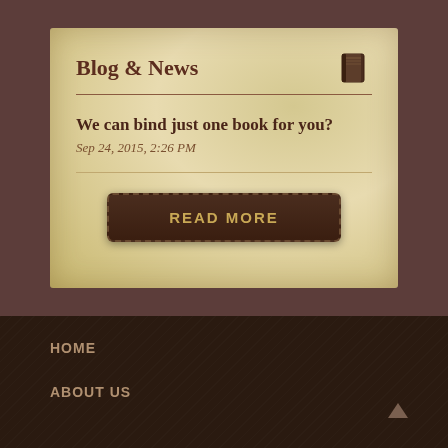Blog & News
We can bind just one book for you?
Sep 24, 2015, 2:26 PM
READ MORE
HOME
ABOUT US